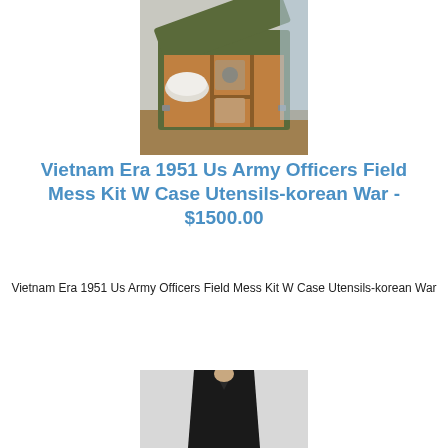[Figure (photo): Open military field mess kit case showing compartments with plates and utensils inside a green metal case, open lid visible, wooden interior dividers]
Vietnam Era 1951 Us Army Officers Field Mess Kit W Case Utensils-korean War - $1500.00
Vietnam Era 1951 Us Army Officers Field Mess Kit W Case Utensils-korean War
[Figure (photo): Partial view of a dark military uniform or jacket on a mannequin, partially cut off at bottom of page]